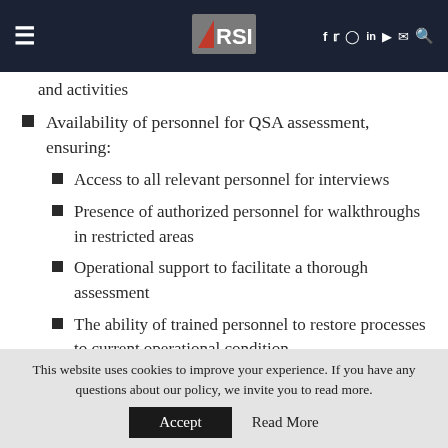RSI — navigation header with hamburger menu, logo, and social icons
and activities
Availability of personnel for QSA assessment, ensuring:
Access to all relevant personnel for interviews
Presence of authorized personnel for walkthroughs in restricted areas
Operational support to facilitate a thorough assessment
The ability of trained personnel to restore processes to current operational condition,
This website uses cookies to improve your experience. If you have any questions about our policy, we invite you to read more.
Accept  Read More